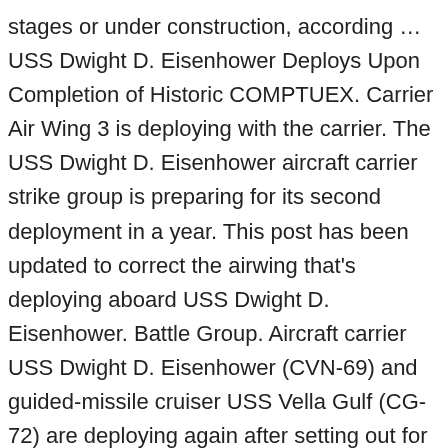stages or under construction, according … USS Dwight D. Eisenhower Deploys Upon Completion of Historic COMPTUEX. Carrier Air Wing 3 is deploying with the carrier. The USS Dwight D. Eisenhower aircraft carrier strike group is preparing for its second deployment in a year. This post has been updated to correct the airwing that's deploying aboard USS Dwight D. Eisenhower. Battle Group. Aircraft carrier USS Dwight D. Eisenhower (CVN-69) and guided-missile cruiser USS Vella Gulf (CG-72) are deploying again after setting out for an earlier deployment in January 2020. US Navy Photo and last updated 2021-02-12 16:26:05-05 NORFOLK, Va. - Every Sailor in the Dwight D. Eisenhower Carrier Strike Group who wants a COVID-19 vaccine … Jan. 28, 2021. Eisenhower spent seven months at sea … Updated: 6:28 PM EST